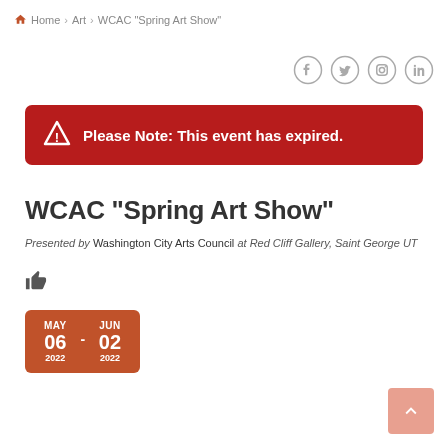🏠 Home > Art > WCAC "Spring Art Show"
[Figure (other): Social media icons: Facebook, Twitter, Instagram, LinkedIn — grey outlined circles]
⚠ Please Note: This event has expired.
WCAC "Spring Art Show"
Presented by Washington City Arts Council at Red Cliff Gallery, Saint George UT
[Figure (other): Thumbs up like icon]
[Figure (infographic): Date range box showing MAY 06 2022 - JUN 02 2022 in terracotta/orange color]